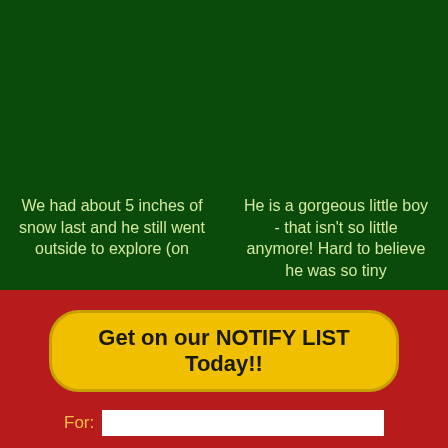We had about 5 inches of snow last and he still went outside to explore (on
He is a gorgeous little boy - that isn't so little anymore! Hard to believe he was so tiny
Get on our NOTIFY LIST Today!!
For: